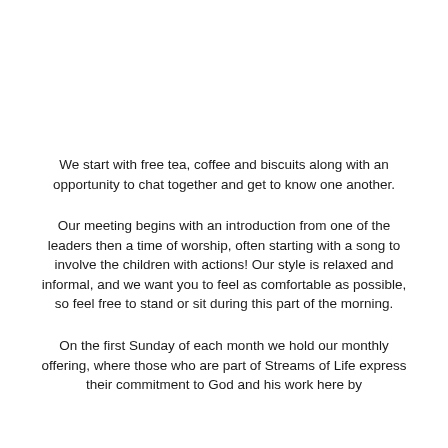We start with free tea, coffee and biscuits along with an opportunity to chat together and get to know one another.
Our meeting begins with an introduction from one of the leaders then a time of worship, often starting with a song to involve the children with actions! Our style is relaxed and informal, and we want you to feel as comfortable as possible, so feel free to stand or sit during this part of the morning.
On the first Sunday of each month we hold our monthly offering, where those who are part of Streams of Life express their commitment to God and his work here by